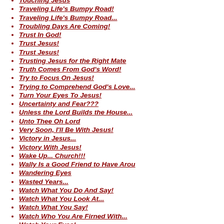Touching Jesus
Traveling Life's Bumpy Road!
Traveling Life's Bumpy Road...
Troubling Days Are Coming!
Trust In God!
Trust Jesus!
Trust Jesus!
Trusting Jesus for the Right Mate
Truth Comes From God's Word!
Try to Focus On Jesus!
Trying to Comprehend God's Love...
Turn Your Eyes To Jesus!
Uncertainty and Fear???
Unless the Lord Builds the House...
Unto Thee Oh Lord
Very Soon, I'll Be With Jesus!
Victory in Jesus...
Victory With Jesus!
Wake Up... Church!!!
Wally Is a Good Friend to Have Arou
Wandering Eyes
Wasted Years...
Watch What You Do And Say!
Watch What You Look At...
Watch What You Say!
Watch Who You Are Firned With...
Watch Your Eyes!
Watch Your Eyes!
WC Is a Great Place to Visit (WC p
We All Have Sinned!
We All Need God So Very Much!